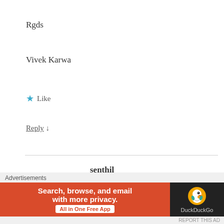Rgds
Vivek Karwa
★ Like
Reply ↓
senthil
24/07/2015 at 10:41 AM
Thank you vivek sir,i need your personal financial advice what can i do for that?
[Figure (screenshot): DuckDuckGo advertisement banner: orange left section with text 'Search, browse, and email with more privacy. All in One Free App', dark right section with DuckDuckGo duck logo]